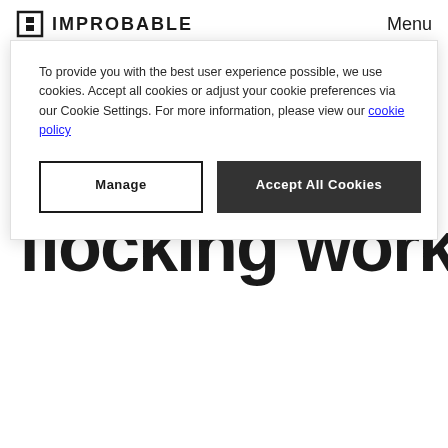IMPROBABLE   Menu
To provide you with the best user experience possible, we use cookies. Accept all cookies or adjust your cookie preferences via our Cookie Settings. For more information, please view our cookie policy
Manage   Accept All Cookies
flocking worker